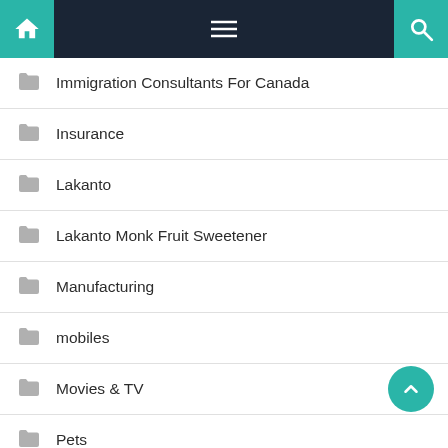Navigation bar with home, menu, and search icons
Immigration Consultants For Canada
Insurance
Lakanto
Lakanto Monk Fruit Sweetener
Manufacturing
mobiles
Movies & TV
Pets
PrepGenius
Quarantine hotels